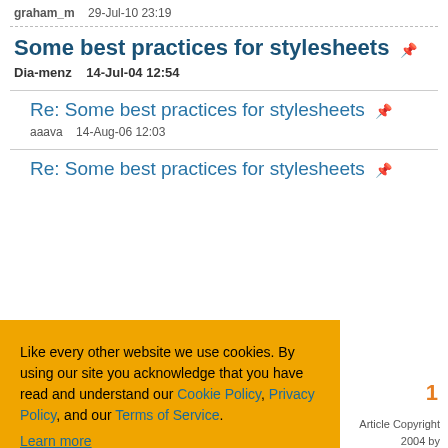graham_m   29-Jul-10 23:19
Some best practices for stylesheets
Dia-menz   14-Jul-04 12:54
Re: Some best practices for stylesheets
aaava   14-Aug-06 12:03
Re: Some best practices for stylesheets
[Figure (screenshot): Cookie consent overlay with orange background containing text about cookie policy, Privacy Policy, Terms of Service links, Learn more link, and three buttons: Ask me later, Decline, Allow cookies]
1
Article Copyright 2004 by Steven Campbell
Everything else Copyright CodeProject, 1999-2022
Web01 2.8.2022.07.15.1